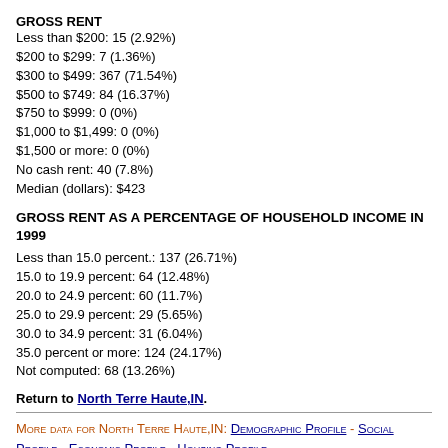GROSS RENT
Less than $200: 15 (2.92%)
$200 to $299: 7 (1.36%)
$300 to $499: 367 (71.54%)
$500 to $749: 84 (16.37%)
$750 to $999: 0 (0%)
$1,000 to $1,499: 0 (0%)
$1,500 or more: 0 (0%)
No cash rent: 40 (7.8%)
Median (dollars): $423
GROSS RENT AS A PERCENTAGE OF HOUSEHOLD INCOME IN 1999
Less than 15.0 percent.: 137 (26.71%)
15.0 to 19.9 percent: 64 (12.48%)
20.0 to 24.9 percent: 60 (11.7%)
25.0 to 29.9 percent: 29 (5.65%)
30.0 to 34.9 percent: 31 (6.04%)
35.0 percent or more: 124 (24.17%)
Not computed: 68 (13.26%)
Return to North Terre Haute,IN.
More data for North Terre Haute,IN: Demographic Profile - Social Profile - Economic Profile - Housing Profile
US Beacon Home